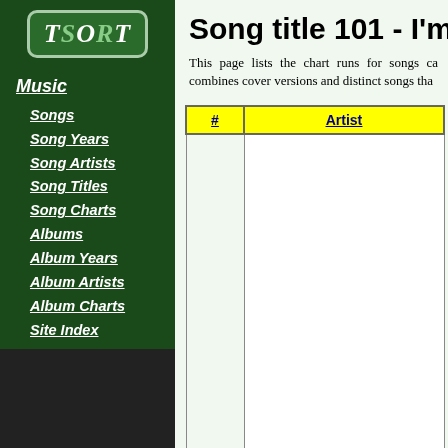[Figure (logo): TSORT logo in green rounded box]
Music
Songs
Song Years
Song Artists
Song Titles
Song Charts
Albums
Album Years
Album Artists
Album Charts
Site Index
Song title 101 - I'm a
This page lists the chart runs for songs ca combines cover versions and distinct songs tha
| # | Artist |
| --- | --- |
| 1 | The Monkees |